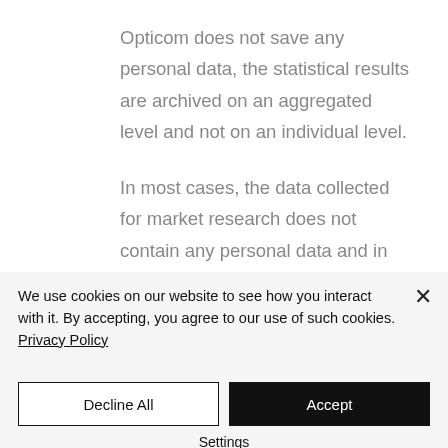Opticom does not save any personal data, the statistical results are archived on an aggregated level and not on an individual level.
In most cases, the data collected for market research does not contain any personal data and in
We use cookies on our website to see how you interact with it. By accepting, you agree to our use of such cookies. Privacy Policy
Decline All
Accept
Settings